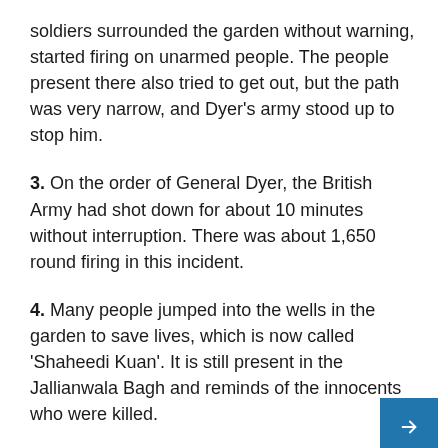soldiers surrounded the garden without warning, started firing on unarmed people. The people present there also tried to get out, but the path was very narrow, and Dyer's army stood up to stop him.
3. On the order of General Dyer, the British Army had shot down for about 10 minutes without interruption. There was about 1,650 round firing in this incident.
4. Many people jumped into the wells in the garden to save lives, which is now called 'Shaheedi Kuan'. It is still present in the Jallianwala Bagh and reminds of the innocents who were killed.